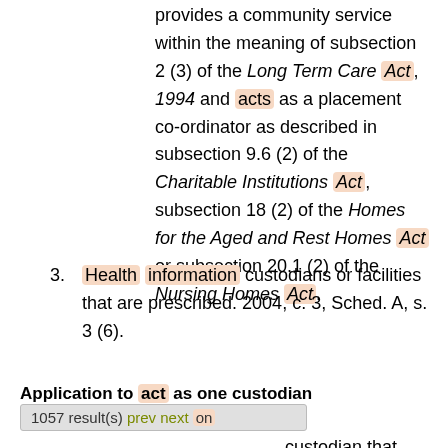provides a community service within the meaning of subsection 2 (3) of the Long Term Care Act, 1994 and acts as a placement co-ordinator as described in subsection 9.6 (2) of the Charitable Institutions Act, subsection 18 (2) of the Homes for the Aged and Rest Homes Act or subsection 20.1 (2) of the Nursing Homes Act.
3. Health information custodians or facilities that are prescribed. 2004, c. 3, Sched. A, s. 3 (6).
Application to act as one custodian
1057 result(s) prev next on custodian that operates more than one facility described in one of the